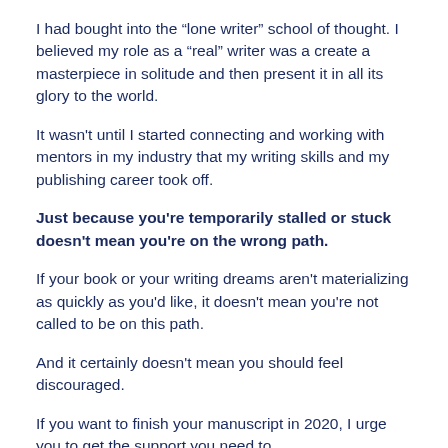I had bought into the “lone writer” school of thought. I believed my role as a “real” writer was a create a masterpiece in solitude and then present it in all its glory to the world.
It wasn't until I started connecting and working with mentors in my industry that my writing skills and my publishing career took off.
Just because you're temporarily stalled or stuck doesn't mean you're on the wrong path.
If your book or your writing dreams aren't materializing as quickly as you'd like, it doesn't mean you're not called to be on this path.
And it certainly doesn't mean you should feel discouraged.
If you want to finish your manuscript in 2020, I urge you to get the support you need to